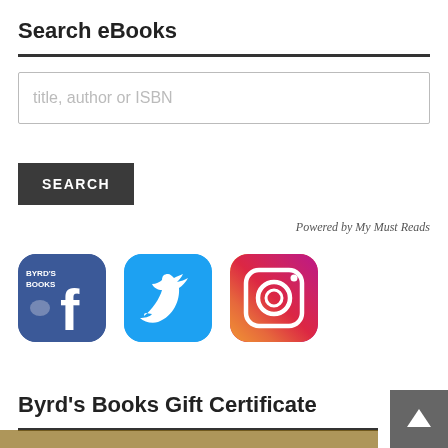Search eBooks
title, author or ISBN
SEARCH
Powered by My Must Reads
[Figure (logo): Facebook logo icon with Byrd's Books branding overlay, blue rounded square background with white 'f' letter]
[Figure (logo): Twitter logo icon, blue rounded square background with white bird]
[Figure (logo): Instagram logo icon, gradient rounded square background with white camera outline]
Byrd's Books Gift Certificate